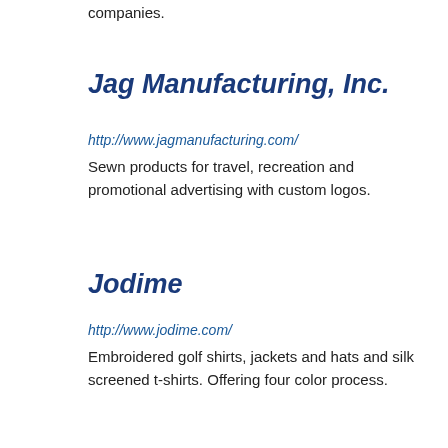companies.
Jag Manufacturing, Inc.
http://www.jagmanufacturing.com/
Sewn products for travel, recreation and promotional advertising with custom logos.
Jodime
http://www.jodime.com/
Embroidered golf shirts, jackets and hats and silk screened t-shirts. Offering four color process.